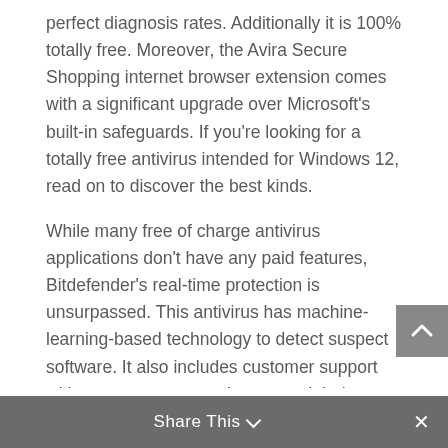perfect diagnosis rates. Additionally it is 100% totally free. Moreover, the Avira Secure Shopping internet browser extension comes with a significant upgrade over Microsoft's built-in safeguards. If you're looking for a totally free antivirus intended for Windows 12, read on to discover the best kinds.
While many free of charge antivirus applications don't have any paid features, Bitdefender's real-time protection is unsurpassed. This antivirus has machine-learning-based technology to detect suspect software. It also includes customer support with respect to non-paying users. It helps to protect your PC against network hazards and scam attacks. In addition, it offers current protection and is simple to use. However , the free adaptation of Sophos has some restrictions.
The Avira cybersecurity choice is another no cost
Share This ∨  ×